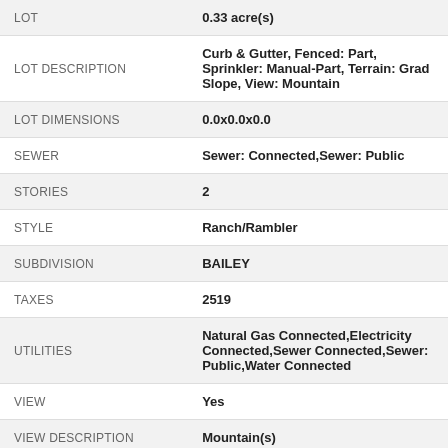| Field | Value |
| --- | --- |
| LOT | 0.33 acre(s) |
| LOT DESCRIPTION | Curb & Gutter, Fenced: Part, Sprinkler: Manual-Part, Terrain: Grad Slope, View: Mountain |
| LOT DIMENSIONS | 0.0x0.0x0.0 |
| SEWER | Sewer: Connected,Sewer: Public |
| STORIES | 2 |
| STYLE | Ranch/Rambler |
| SUBDIVISION | BAILEY |
| TAXES | 2519 |
| UTILITIES | Natural Gas Connected,Electricity Connected,Sewer Connected,Sewer: Public,Water Connected |
| VIEW | Yes |
| VIEW DESCRIPTION | Mountain(s) |